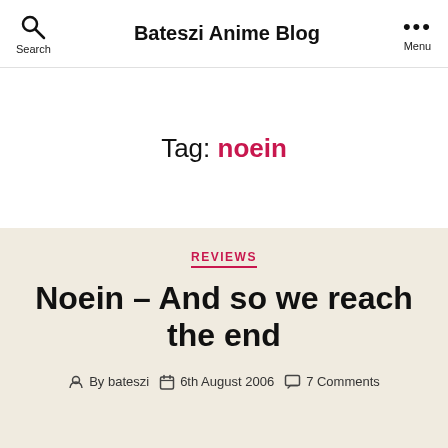Search  Bateszi Anime Blog  Menu
Tag: noein
REVIEWS
Noein – And so we reach the end
By bateszi  6th August 2006  7 Comments